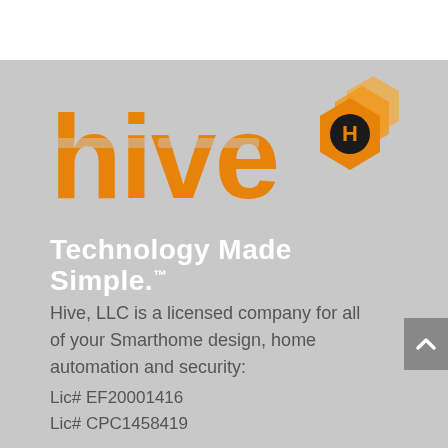[Figure (logo): Hive company logo: orange 'hive' wordmark with white stripe accents, accompanied by an orange hexagonal honeycomb icon with a black circle containing an orange 'H', and stacked orange hexagon layers behind]
Technology Made Simple.™
Hive, LLC is a licensed company for all of your Smarthome design, home automation and security:
Lic# EF20001416
Lic# CPC1458419